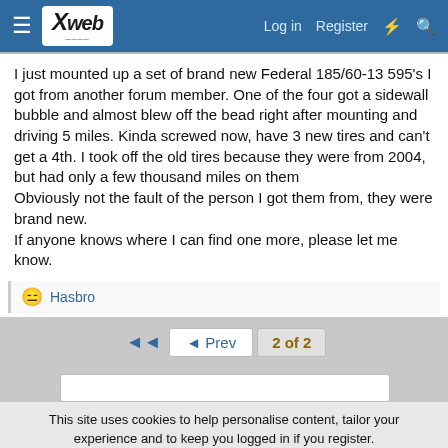Xweb — Log in  Register
I just mounted up a set of brand new Federal 185/60-13 595's I got from another forum member. One of the four got a sidewall bubble and almost blew off the bead right after mounting and driving 5 miles. Kinda screwed now, have 3 new tires and can't get a 4th. I took off the old tires because they were from 2004, but had only a few thousand miles on them
Obviously not the fault of the person I got them from, they were brand new.
If anyone knows where I can find one more, please let me know.
😐 Hasbro
◄◄  ◄ Prev  2 of 2
This site uses cookies to help personalise content, tailor your experience and to keep you logged in if you register.
By continuing to use this site, you are consenting to our use of cookies.
✔ Accept   Learn more...